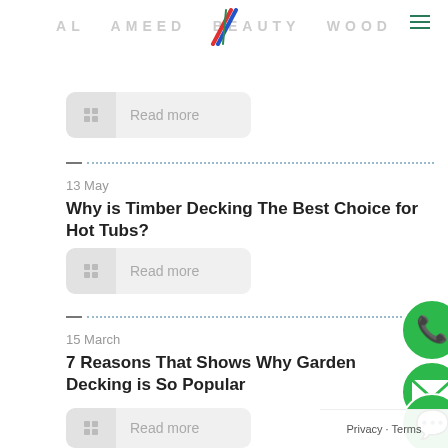AL AMEED BEAUTY WOOD
[Figure (logo): Diagonal colored stripes logo icon (red, blue, green)]
[Figure (other): Read more button with grid icon]
13 May
Why is Timber Decking The Best Choice for Hot Tubs?
[Figure (other): Read more button with grid icon]
15 March
7 Reasons That Shows Why Garden Decking is So Popular
[Figure (other): Read more button with grid icon]